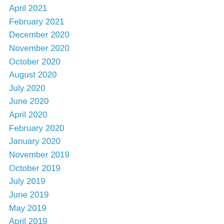April 2021
February 2021
December 2020
November 2020
October 2020
August 2020
July 2020
June 2020
April 2020
February 2020
January 2020
November 2019
October 2019
July 2019
June 2019
May 2019
April 2019
December 2018
November 2018
September 2018